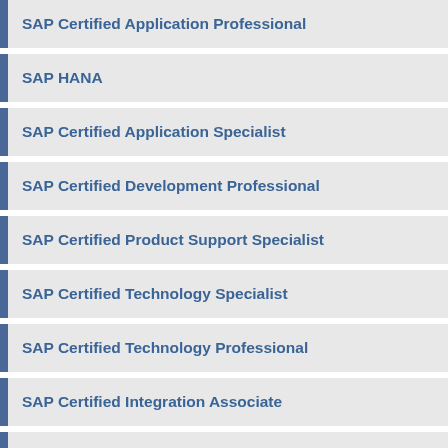SAP Certified Application Professional
SAP HANA
SAP Certified Application Specialist
SAP Certified Development Professional
SAP Certified Product Support Specialist
SAP Certified Technology Specialist
SAP Certified Technology Professional
SAP Certified Integration Associate
SAP Certified Professional